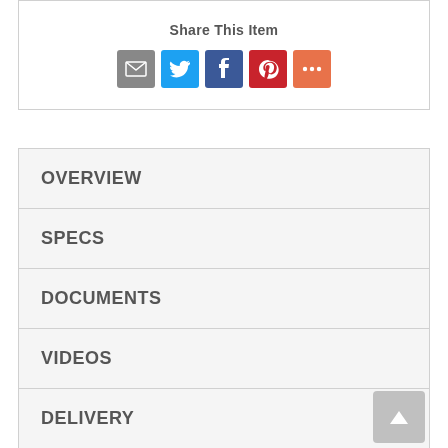Share This Item
[Figure (other): Social sharing icons: email (grey), Twitter (blue), Facebook (dark blue), Pinterest (red), More (orange)]
OVERVIEW
SPECS
DOCUMENTS
VIDEOS
DELIVERY
WARRANTY
REVIEWS (895)